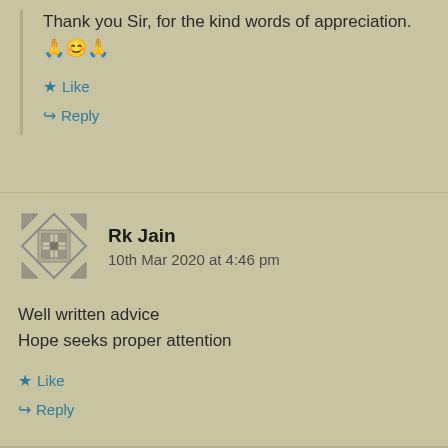Thank you Sir, for the kind words of appreciation. 🙏😊🙏
★ Like
↪ Reply
Rk Jain
10th Mar 2020 at 4:46 pm
Well written advice
Hope seeks proper attention
★ Like
↪ Reply